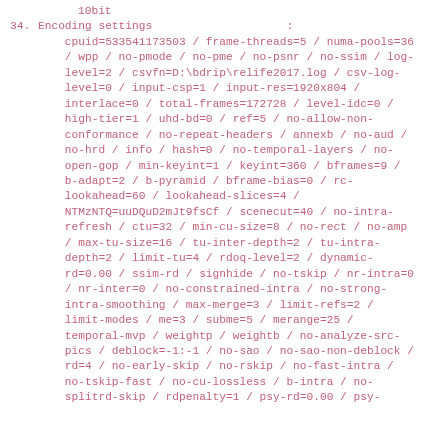10bit
34. Encoding settings : cpuid=533541173503 / frame-threads=5 / numa-pools=36 / wpp / no-pmode / no-pme / no-psnr / no-ssim / log-level=2 / csvfn=D:\bdrip\relife2017.log / csv-log-level=0 / input-csp=1 / input-res=1920x804 / interlace=0 / total-frames=172728 / level-idc=0 / high-tier=1 / uhd-bd=0 / ref=5 / no-allow-non-conformance / no-repeat-headers / annexb / no-aud / no-hrd / info / hash=0 / no-temporal-layers / no-open-gop / min-keyint=1 / keyint=360 / bframes=9 / b-adapt=2 / b-pyramid / bframe-bias=0 / rc-lookahead=60 / lookahead-slices=4 / NTMzNTQ=uuDQuD2mJt9fsCf / scenecut=40 / no-intra-refresh / ctu=32 / min-cu-size=8 / no-rect / no-amp / max-tu-size=16 / tu-inter-depth=2 / tu-intra-depth=2 / limit-tu=4 / rdoq-level=2 / dynamic-rd=0.00 / ssim-rd / signhide / no-tskip / nr-intra=0 / nr-inter=0 / no-constrained-intra / no-strong-intra-smoothing / max-merge=3 / limit-refs=2 / limit-modes / me=3 / subme=5 / merange=25 / temporal-mvp / weightp / weightb / no-analyze-src-pics / deblock=-1:-1 / no-sao / no-sao-non-deblock / rd=4 / no-early-skip / no-rskip / no-fast-intra / no-tskip-fast / no-cu-lossless / b-intra / no-splitrd-skip / rdpenalty=1 / psy-rd=0.00 / psy-